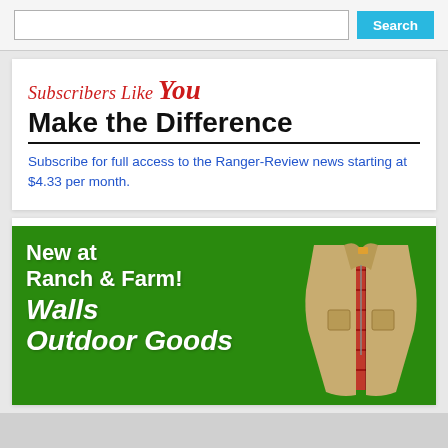Search
[Figure (illustration): Subscribers Like You Make the Difference subscription promotion card with cursive red heading and bold black subheading]
Subscribe for full access to the Ranger-Review news starting at $4.33 per month.
[Figure (illustration): Advertisement: New at Ranch & Farm! Walls Outdoor Goods - green background with image of tan vest with red plaid flannel lining]